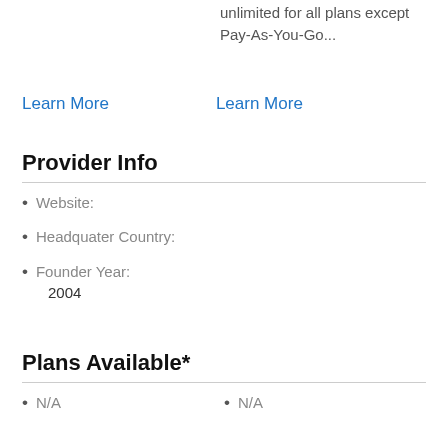unlimited for all plans except Pay-As-You-Go...
Learn More
Learn More
Provider Info
Website:
Headquater Country:
Founder Year: 2004
Plans Available*
N/A
N/A